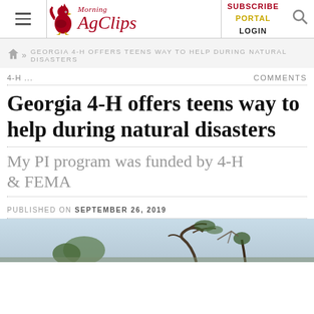Morning AgClips — SUBSCRIBE PORTAL LOGIN
GEORGIA 4-H OFFERS TEENS WAY TO HELP DURING NATURAL DISASTERS
4-H ...  COMMENTS
Georgia 4-H offers teens way to help during natural disasters
My PI program was funded by 4-H & FEMA
PUBLISHED ON SEPTEMBER 26, 2019
[Figure (photo): Outdoor photo showing storm damage with bent trees against a light blue sky background]